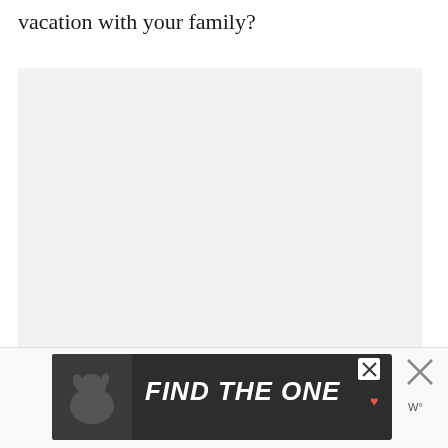vacation with your family?
[Figure (other): Large light gray content/image placeholder box]
[Figure (infographic): UI action buttons: red heart/like button, count showing 2, and share button]
[Figure (other): Advertisement banner with dark background showing a dog and text 'FIND THE ONE' with a heart icon and a close X button]